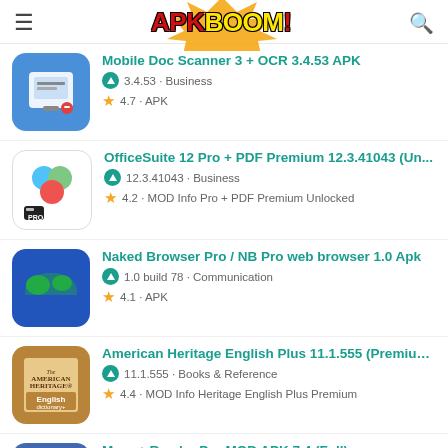APKBOOM! — app download site header
Mobile Doc Scanner 3 + OCR 3.4.53 APK · 3.4.53 · Business · 4.7 · APK
OfficeSuite 12 Pro + PDF Premium 12.3.41043 (Un... · 12.3.41043 · Business · 4.2 · MOD Info Pro + PDF Premium Unlocked
Naked Browser Pro / NB Pro web browser 1.0 Apk · 1.0 build 78 · Communication · 4.1 · APK
American Heritage English Plus 11.1.555 (Premium... · 11.1.555 · Books & Reference · 4.4 · MOD Info Heritage English Plus Premium
Moon+ Reader Pro MOD APK 7.4 (Full) · 7.4 · Books & Reference